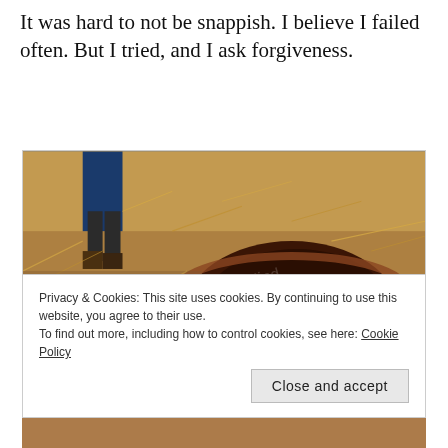It was hard to not be snappish. I believe I failed often. But I tried, and I ask forgiveness.
[Figure (photo): Outdoor photo showing a person's legs/boots standing near a large hole or pit dug in dry, reddish earth covered with dry grass and straw.]
Privacy & Cookies: This site uses cookies. By continuing to use this website, you agree to their use.
To find out more, including how to control cookies, see here: Cookie Policy
Close and accept
[Figure (photo): Partial bottom strip of another outdoor photo.]